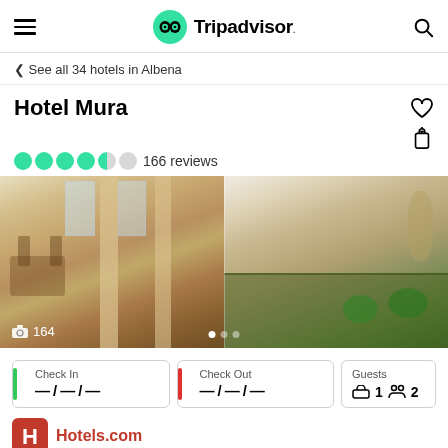Tripadvisor
See all 34 hotels in Albena
Hotel Mura
166 reviews
[Figure (photo): Hotel Mura restaurant interior with dining area and buffet. Photo count: 164.]
Check In — / — / —
Check Out — / — / —
Guests 1 room, 2 guests
Hotels.com